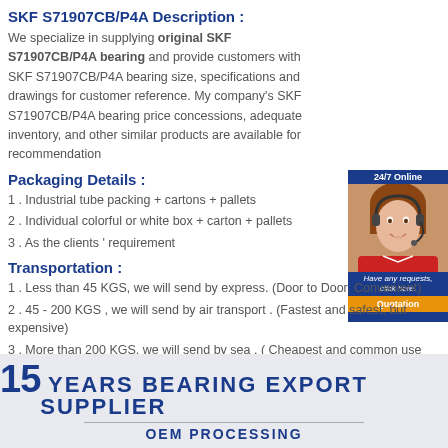SKF S71907CB/P4A Description :
We specialize in supplying original SKF S71907CB/P4A bearing and provide customers with SKF S71907CB/P4A bearing size, specifications and drawings for customer reference. My company's SKF S71907CB/P4A bearing price concessions, adequate inventory, and other similar products are available for recommendation
[Figure (photo): Customer service agent photo with '24/7 Online' header, text 'Have any requests, click here.' and orange 'Quotation' button]
Packaging Details :
1 . Industrial tube packing + cartons + pallets
2 . Individual colorful or white box + carton + pallets
3 . As the clients ' requirement
Transportation :
1 . Less than 45 KGS, we will send by express. (Door to Door, Convenient)
2 . 45 - 200 KGS , we will send by air transport . (Fastest and safest, but expensive)
3 . More than 200 KGS, we will send by sea . ( Cheapest and common use )
[Figure (infographic): Blue-grey banner: '15 YEARS BEARING EXPORT SUPPLIER' with 'OEM PROCESSING' below]